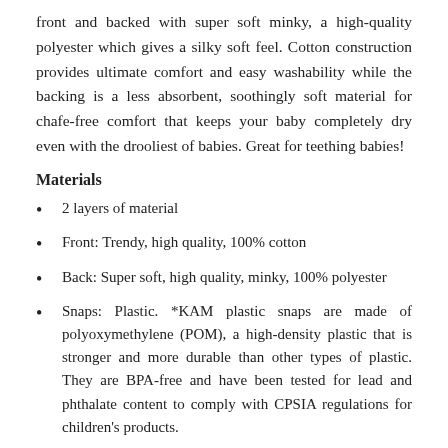front and backed with super soft minky, a high-quality polyester which gives a silky soft feel. Cotton construction provides ultimate comfort and easy washability while the backing is a less absorbent, soothingly soft material for chafe-free comfort that keeps your baby completely dry even with the drooliest of babies. Great for teething babies!
Materials
2 layers of material
Front: Trendy, high quality, 100% cotton
Back: Super soft, high quality, minky, 100% polyester
Snaps: Plastic. *KAM plastic snaps are made of polyoxymethylene (POM), a high-density plastic that is stronger and more durable than other types of plastic. They are BPA-free and have been tested for lead and phthalate content to comply with CPSIA regulations for children's products.